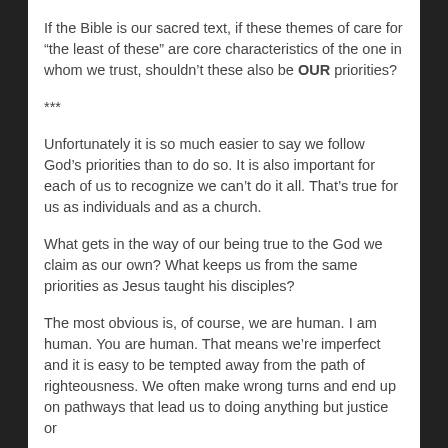If the Bible is our sacred text, if these themes of care for “the least of these” are core characteristics of the one in whom we trust, shouldn’t these also be OUR priorities?
***
Unfortunately it is so much easier to say we follow God’s priorities than to do so. It is also important for each of us to recognize we can’t do it all. That’s true for us as individuals and as a church.
What gets in the way of our being true to the God we claim as our own? What keeps us from the same priorities as Jesus taught his disciples?
The most obvious is, of course, we are human. I am human. You are human. That means we’re imperfect and it is easy to be tempted away from the path of righteousness. We often make wrong turns and end up on pathways that lead us to doing anything but justice or